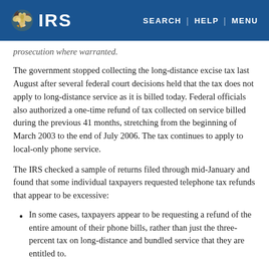IRS | SEARCH | HELP | MENU
prosecution where warranted.
The government stopped collecting the long-distance excise tax last August after several federal court decisions held that the tax does not apply to long-distance service as it is billed today. Federal officials also authorized a one-time refund of tax collected on service billed during the previous 41 months, stretching from the beginning of March 2003 to the end of July 2006. The tax continues to apply to local-only phone service.
The IRS checked a sample of returns filed through mid-January and found that some individual taxpayers requested telephone tax refunds that appear to be excessive:
In some cases, taxpayers appear to be requesting a refund of the entire amount of their phone bills, rather than just the three-percent tax on long-distance and bundled service that they are entitled to.
Some individuals are making requests for thousands of dollars, indicating that they had phone bills topping $100,000 – an amount exceeding their income.